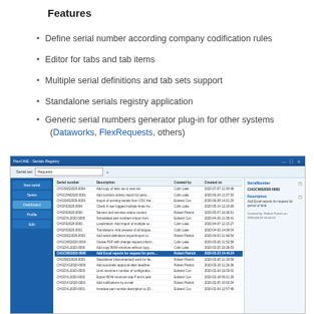Features
Define serial number according company codification rules
Editor for tabs and tab items
Multiple serial definitions and tab sets support
Standalone serials registry application
Generic serial numbers generator plug-in for other systems (Dataworks, FlexRequests, others)
[Figure (screenshot): Screenshot of FlexONE Serials Registry application showing a table of serial numbers with columns for Serial number, Description, Created by, and Created on. Left sidebar has navigation buttons: New serial, Series, Dashboard, Profile, Edit. A right panel shows details of the selected record CHGCMS2020-0000. The selected row in the table is highlighted in blue.]